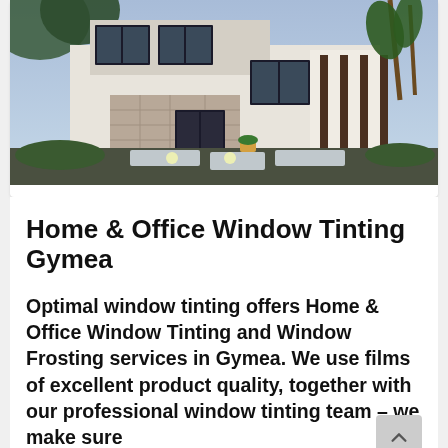[Figure (photo): Photo of a modern house exterior with large dark-framed windows, stone and white render facade, palm trees, and a paved stone walkway in the foreground with garden landscaping.]
Home & Office Window Tinting Gymea
Optimal window tinting offers Home & Office Window Tinting and Window Frosting services in Gymea. We use films of excellent product quality, together with our professional window tinting team – we make sure